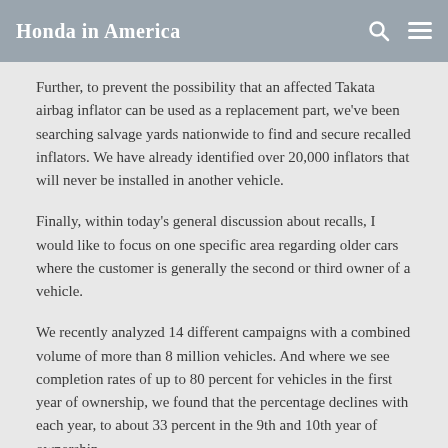Honda in America
Further, to prevent the possibility that an affected Takata airbag inflator can be used as a replacement part, we've been searching salvage yards nationwide to find and secure recalled inflators. We have already identified over 20,000 inflators that will never be installed in another vehicle.
Finally, within today's general discussion about recalls, I would like to focus on one specific area regarding older cars where the customer is generally the second or third owner of a vehicle.
We recently analyzed 14 different campaigns with a combined volume of more than 8 million vehicles. And where we see completion rates of up to 80 percent for vehicles in the first year of ownership, we found that the percentage declines with each year, to about 33 percent in the 9th and 10th year of ownership.
To amplify this point, let me explain that we have enlisted a